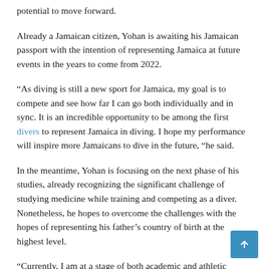potential to move forward.
Already a Jamaican citizen, Yohan is awaiting his Jamaican passport with the intention of representing Jamaica at future events in the years to come from 2022.
“As diving is still a new sport for Jamaica, my goal is to compete and see how far I can go both individually and in sync. It is an incredible opportunity to be among the first divers to represent Jamaica in diving. I hope my performance will inspire more Jamaicans to dive in the future, “he said.
In the meantime, Yohan is focusing on the next phase of his studies, already recognizing the significant challenge of studying medicine while training and competing as a diver. Nonetheless, he hopes to overcome the challenges with the hopes of representing his father’s country of birth at the highest level.
“Currently, I am at a stage of both academic and athletic